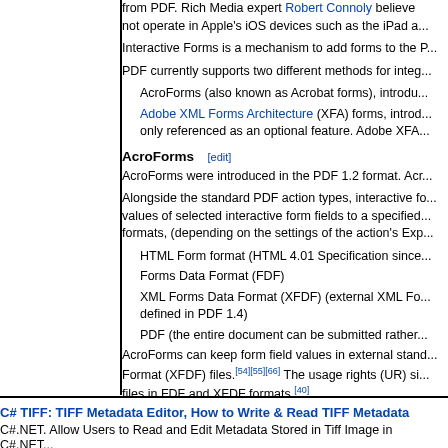from PDF. Rich Media expert Robert Connoly believes not operate in Apple's iOS devices such as the iPad a...
Interactive Forms is a mechanism to add forms to the P...
PDF currently supports two different methods for integ...
AcroForms (also known as Acrobat forms), introdu...
Adobe XML Forms Architecture (XFA) forms, introd... only referenced as an optional feature. Adobe XFA...
AcroForms [edit]
AcroForms were introduced in the PDF 1.2 format. Acr...
Alongside the standard PDF action types, interactive fo... values of selected interactive form fields to a specified... formats, (depending on the settings of the action's Exp...
HTML Form format (HTML 4.01 Specification since...
Forms Data Format (FDF)
XML Forms Data Format (XFDF) (external XML Fo... defined in PDF 1.4)
PDF (the entire document can be submitted rather...
AcroForms can keep form field values in external stand... Format (XFDF) files.[54][55][66] The usage rights (UR) si... files in FDF and XFDF formats.[40]
Forms Data Format (FDF) [edit]
The Forms Data Format (FDF) is based on PDF, it use... much simpler than PDF, since the body of an FDF doc... defined in the PDF specification (since PDF 1.2). The F...
C# TIFF: TIFF Metadata Editor, How to Write & Read TIFF Metadata
C#.NET. Allow Users to Read and Edit Metadata Stored in Tiff Image in C#.NET...